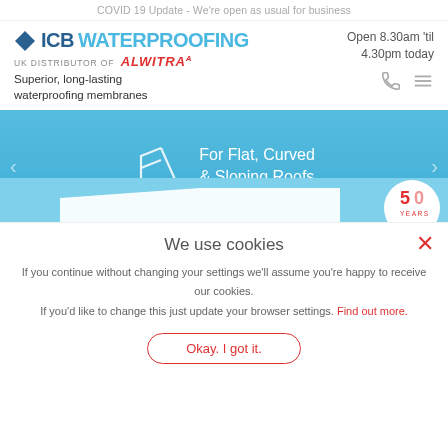COVID 19 Update - We're open as usual for business
[Figure (logo): ICB Waterproofing logo with diamond shape, blue ICB text and light blue WATERPROOFING text. Below: UK DISTRIBUTOR OF alwitra (red, italic, superscript a)]
Open 8.30am 'til 4.30pm today
Superior, long-lasting waterproofing membranes
[Figure (infographic): Blue banner slider with white roof icon and text: For Flat, Curved & Sloping Roofs. Left and right navigation arrows. Below: sky background with white roof shape and partially visible 50 YEARS badge.]
We use cookies
If you continue without changing your settings we'll assume you're happy to receive our cookies.
If you'd like to change this just update your browser settings. Find out more.
Okay. I got it.